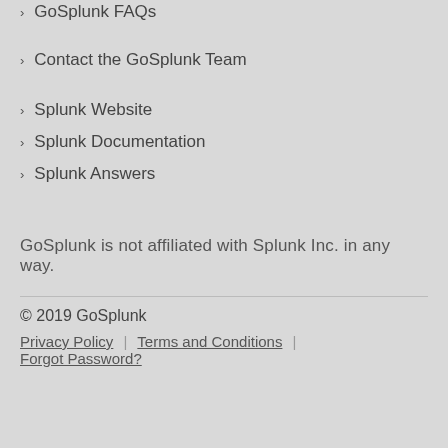GoSplunk FAQs
Contact the GoSplunk Team
Splunk Website
Splunk Documentation
Splunk Answers
GoSplunk is not affiliated with Splunk Inc. in any way.
© 2019 GoSplunk
Privacy Policy | Terms and Conditions | Forgot Password?